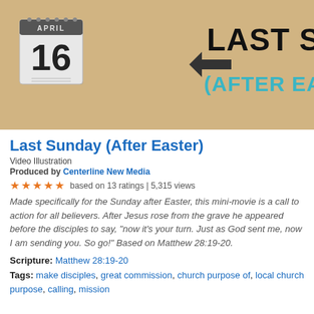[Figure (illustration): Banner image with tan/kraft paper background showing a calendar page with 'APRIL 16' on the left, and bold black text 'LAST SUNDAY' with teal text '(AFTER EASTER)' and a left-pointing arrow on the right.]
Last Sunday (After Easter)
Video Illustration
Produced by Centerline New Media
★★★★★ based on 13 ratings | 5,315 views
Made specifically for the Sunday after Easter, this mini-movie is a call to action for all believers. After Jesus rose from the grave he appeared before the disciples to say, "now it's your turn. Just as God sent me, now I am sending you. So go!" Based on Matthew 28:19-20.
Scripture: Matthew 28:19-20
Tags: make disciples, great commission, church purpose of, local church purpose, calling, mission